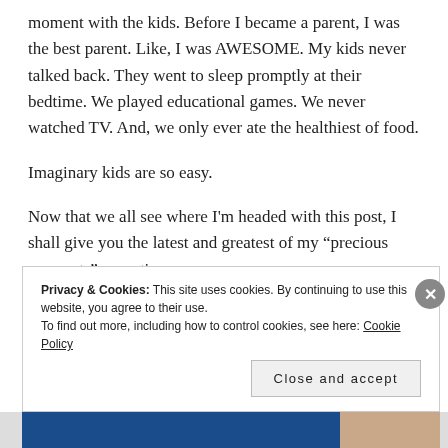moment with the kids. Before I became a parent, I was the best parent. Like, I was AWESOME. My kids never talked back. They went to sleep promptly at their bedtime. We played educational games. We never watched TV. And, we only ever ate the healthiest of food.
Imaginary kids are so easy.
Now that we all see where I'm headed with this post, I shall give you the latest and greatest of my "precious moments" parenting….
Privacy & Cookies: This site uses cookies. By continuing to use this website, you agree to their use. To find out more, including how to control cookies, see here: Cookie Policy